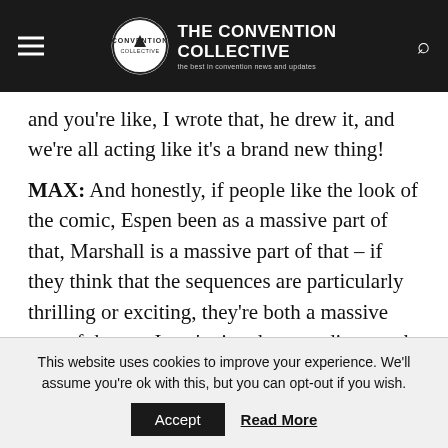THE CONVENTION COLLECTIVE — the best in convention news and updates
and you're like, I wrote that, he drew it, and we're all acting like it's a brand new thing!
MAX: And honestly, if people like the look of the comic, Espen been as a massive part of that, Marshall is a massive part of that – if they think that the sequences are particularly thrilling or exciting, they're both a massive part of that, so I can't give them credit enough.
This website uses cookies to improve your experience. We'll assume you're ok with this, but you can opt-out if you wish. Accept  Read More